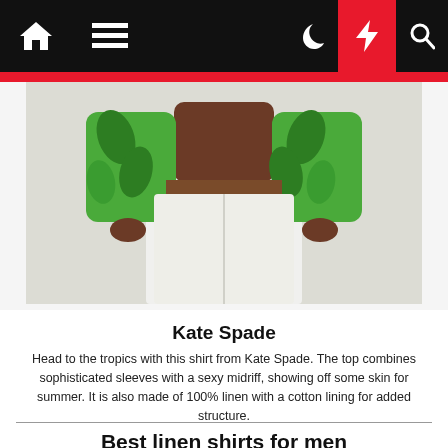Navigation bar with home, menu, moon, lightning, and search icons
[Figure (photo): Model wearing a green and white tropical leaf print shirt with white wide-leg trousers, cropped to show torso area]
Kate Spade
Head to the tropics with this shirt from Kate Spade. The top combines sophisticated sleeves with a sexy midriff, showing off some skin for summer. It is also made of 100% linen with a cotton lining for added structure.
Best linen shirts for men
1. Alex Crane Playa Shirt, $145